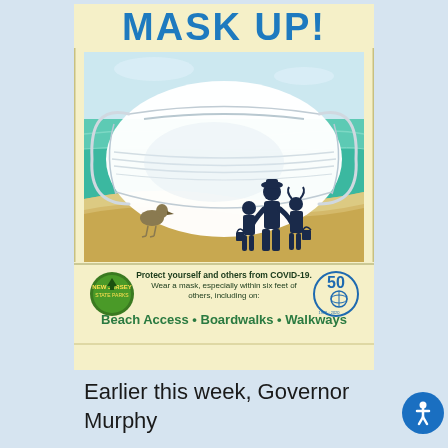[Figure (illustration): A government public health poster with cream/yellow background. Top text 'MASK UP!' in large bold blue letters. Below is an illustration of a beach scene with a large white surgical face mask in the foreground, ocean/teal water behind, sandy beach with a seagull on left and silhouettes of an adult and two children walking on right. Bottom section has a green NJ State Park badge logo on left, text 'Protect yourself and others from COVID-19. Wear a mask, especially within six feet of others, including on:' in center, a 50th anniversary globe logo on right, and bold green text 'Beach Access • Boardwalks • Walkways'.]
Earlier this week, Governor Murphy